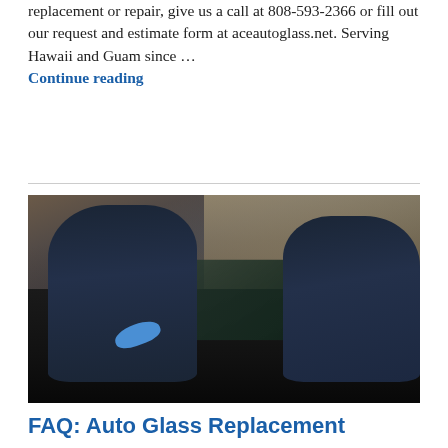replacement or repair, give us a call at 808-593-2366 or fill out our request and estimate form at aceautoglass.net. Serving Hawaii and Guam since … Continue reading
[Figure (photo): Two auto glass technicians in dark uniforms installing a windshield on a car inside a warehouse/garage. The technician on the left is wearing blue gloves.]
FAQ: Auto Glass Replacement